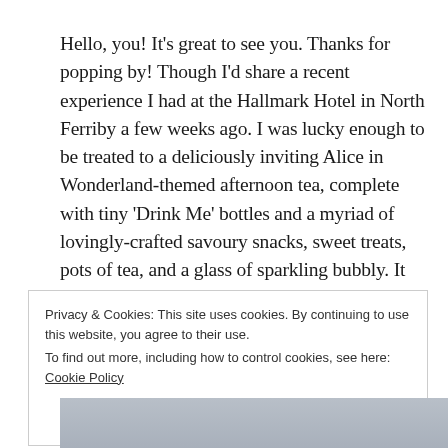Hello, you! It's great to see you. Thanks for popping by! Though I'd share a recent experience I had at the Hallmark Hotel in North Ferriby a few weeks ago. I was lucky enough to be treated to a deliciously inviting Alice in Wonderland-themed afternoon tea, complete with tiny 'Drink Me' bottles and a myriad of lovingly-crafted savoury snacks, sweet treats, pots of tea, and a glass of sparkling bubbly. It really was as good as it sounds!
Privacy & Cookies: This site uses cookies. By continuing to use this website, you agree to their use.
To find out more, including how to control cookies, see here: Cookie Policy
Close and accept
[Figure (photo): Partial photo visible at the bottom of the page]